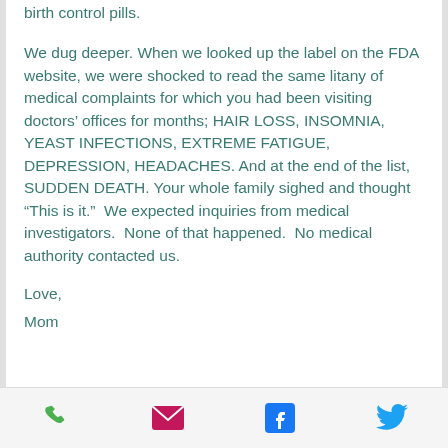birth control pills.
We dug deeper. When we looked up the label on the FDA website, we were shocked to read the same litany of medical complaints for which you had been visiting doctors' offices for months; HAIR LOSS, INSOMNIA, YEAST INFECTIONS, EXTREME FATIGUE, DEPRESSION, HEADACHES. And at the end of the list, SUDDEN DEATH. Your whole family sighed and thought “This is it.”  We expected inquiries from medical investigators.  None of that happened.  No medical authority contacted us.
Love,
Mom
[Figure (infographic): Mobile app footer bar with four icons: phone (green), email/envelope (pink/magenta), Facebook (blue), Twitter (blue)]